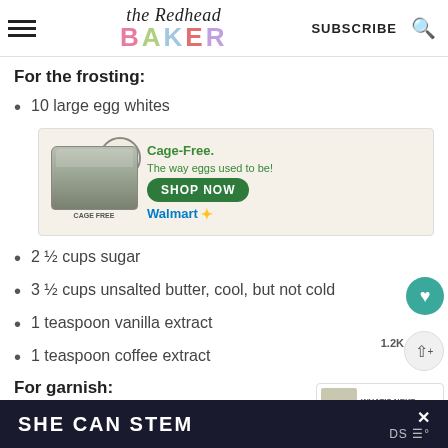the Redhead BAKER — SUBSCRIBE
For the frosting:
10 large egg whites
[Figure (advertisement): Farmhouse Eggs cage-free egg carton advertisement with Walmart Shop Now button]
2 ½ cups sugar
3 ½ cups unsalted butter, cool, but not cold
1 teaspoon vanilla extract
1 teaspoon coffee extract
For garnish:
SHE CAN STEM